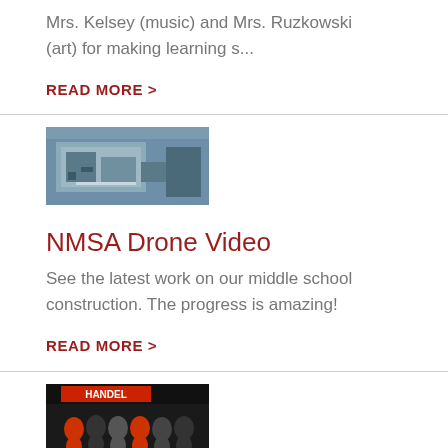Mrs. Kelsey (music) and Mrs. Ruzkowski (art) for making learning s...
READ MORE >
[Figure (photo): Aerial drone photo of a middle school construction site building exterior]
NMSA Drone Video
See the latest work on our middle school construction. The progress is amazing!
READ MORE >
[Figure (photo): Group photo of students in front of a Handel sign/marquee]